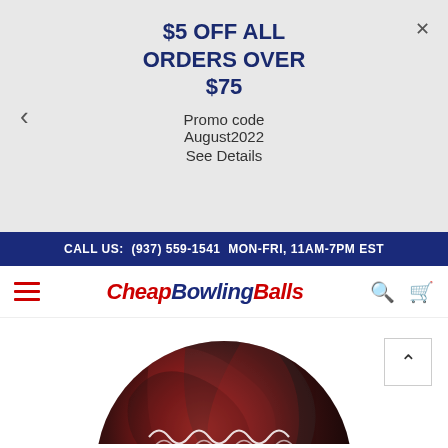$5 OFF ALL ORDERS OVER $75
Promo code
August2022
See Details
CALL US: (937) 559-1541 MON-FRI, 11AM-7PM EST
CheapBowlingBalls
[Figure (photo): A red and black marbled bowling ball shown from above, partially visible at the bottom of the page]